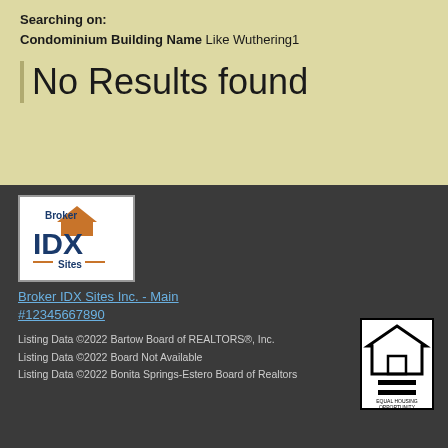Searching on:
Condominium Building Name Like Wuthering1
No Results found
[Figure (logo): Broker IDX Sites logo — white background with orange rooftop icon, dark blue IDX text, and 'Sites' text with orange dash lines]
Broker IDX Sites Inc. - Main
#12345667890
Listing Data ©2022 Bartow Board of REALTORS®, Inc.
Listing Data ©2022 Board Not Available
Listing Data ©2022 Bonita Springs-Estero Board of Realtors
[Figure (logo): Equal Housing Opportunity logo — black and white house with equal sign, text 'EQUAL HOUSING OPPORTUNITY']